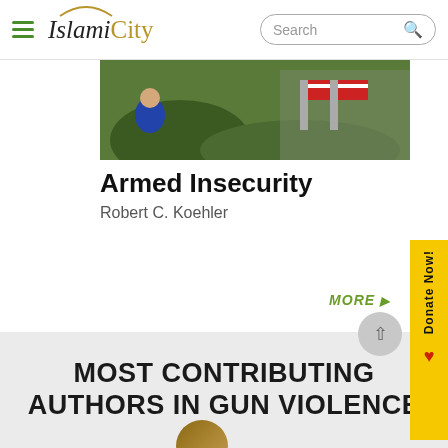IslamiCity
[Figure (photo): Outdoor scene with a person on grass and American flags in the background]
Armed Insecurity
Robert C. Koehler
MORE
MOST CONTRIBUTING AUTHORS IN GUN VIOLENCE